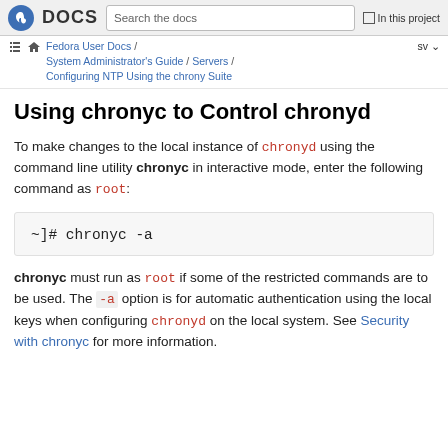DOCS  Search the docs  In this project
Fedora User Docs / System Administrator's Guide / Servers / Configuring NTP Using the chrony Suite  sv
Using chronyc to Control chronyd
To make changes to the local instance of chronyd using the command line utility chronyc in interactive mode, enter the following command as root:
chronyc must run as root if some of the restricted commands are to be used. The -a option is for automatic authentication using the local keys when configuring chronyd on the local system. See Security with chronyc for more information.